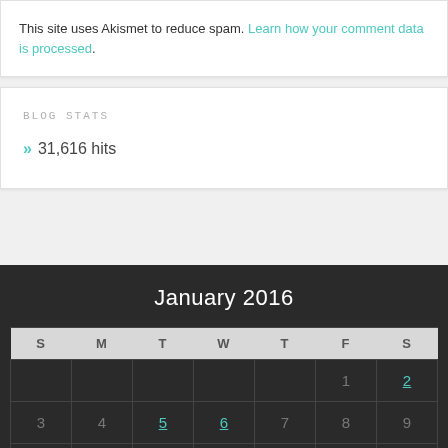This site uses Akismet to reduce spam. Learn how your comment data is processed.
BLOG STATS
» 31,616 hits
January 2016
| S | M | T | W | T | F | S |
| --- | --- | --- | --- | --- | --- | --- |
|  |  |  |  |  | 1 | 2 |
| 3 | 4 | 5 | 6 | 7 | 8 | 9 |
| 10 | 11 | 12 | 13 | 14 | 15 | 16 |